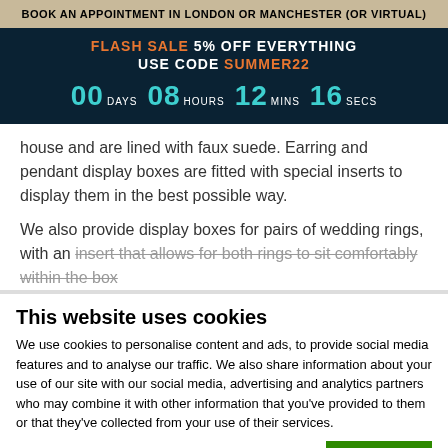BOOK AN APPOINTMENT IN LONDON OR MANCHESTER (OR VIRTUAL)
FLASH SALE 5% OFF EVERYTHING USE CODE SUMMER22 00 DAYS 08 HOURS 12 MINS 16 SECS
house and are lined with faux suede. Earring and pendant display boxes are fitted with special inserts to display them in the best possible way.
We also provide display boxes for pairs of wedding rings, with an insert that allows for both rings to sit comfortably within the box
This website uses cookies
We use cookies to personalise content and ads, to provide social media features and to analyse our traffic. We also share information about your use of our site with our social media, advertising and analytics partners who may combine it with other information that you've provided to them or that they've collected from your use of their services.
OK
Necessary  Preferences  Statistics  Marketing  Show details